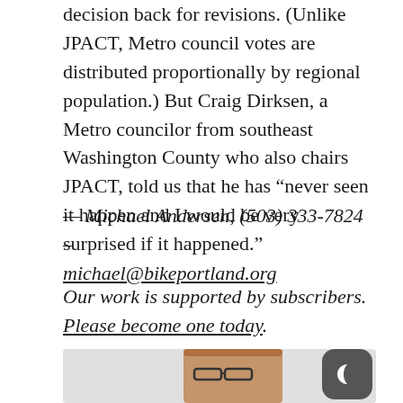decision back for revisions. (Unlike JPACT, Metro council votes are distributed proportionally by regional population.) But Craig Dirksen, a Metro councilor from southeast Washington County who also chairs JPACT, told us that he has “never seen it happen and I would be very surprised if it happened.”
— Michael Andersen, (503) 333-7824 – michael@bikeportland.org
Our work is supported by subscribers. Please become one today.
[Figure (photo): Headshot of a man wearing glasses, smiling, with a gray background. A dark mode toggle button (moon icon) is visible in the bottom right corner.]